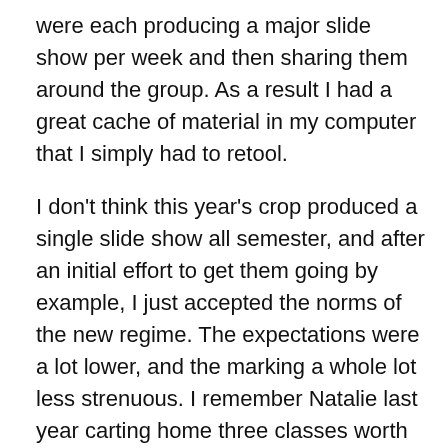were each producing a major slide show per week and then sharing them around the group. As a result I had a great cache of material in my computer that I simply had to retool.
I don't think this year's crop produced a single slide show all semester, and after an initial effort to get them going by example, I just accepted the norms of the new regime. The expectations were a lot lower, and the marking a whole lot less strenuous. I remember Natalie last year carting home three classes worth of journals every other weekend, and she had nearly ninety students! This year journals got marked four times all semester, and it was made pretty plain that others did not want you doing more and making them look bad.
We also met a lot more frequently last term, at least every